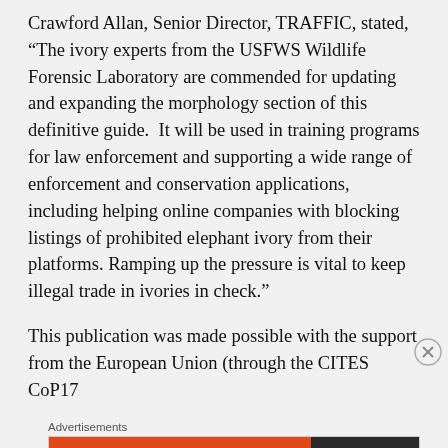Crawford Allan, Senior Director, TRAFFIC, stated, “The ivory experts from the USFWS Wildlife Forensic Laboratory are commended for updating and expanding the morphology section of this definitive guide.  It will be used in training programs for law enforcement and supporting a wide range of enforcement and conservation applications, including helping online companies with blocking listings of prohibited elephant ivory from their platforms. Ramping up the pressure is vital to keep illegal trade in ivories in check.”
This publication was made possible with the support from the European Union (through the CITES CoP17
Advertisements
[Figure (other): DuckDuckGo advertisement banner: orange left side with text 'Search, browse, and email with more privacy. All in One Free App', dark right side with DuckDuckGo logo and name.]